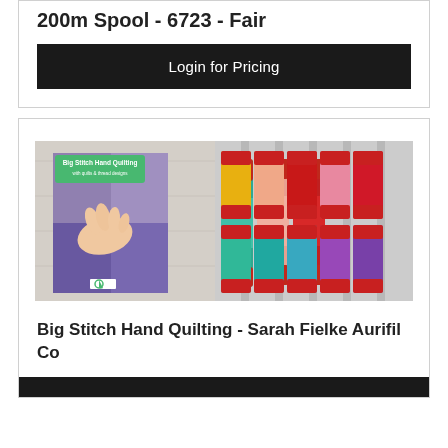200m Spool - 6723 - Fair
Login for Pricing
[Figure (photo): Product image showing a Big Stitch Hand Quilting book cover alongside colorful thread spools with red bases in gold, pink, red, crimson, teal, and purple colors arranged on a light wood background.]
Big Stitch Hand Quilting - Sarah Fielke Aurifil Co